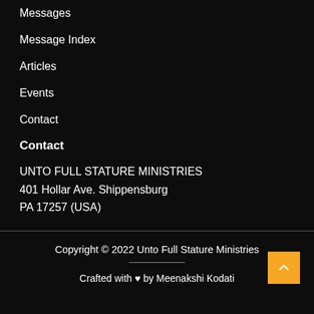Messages
Message Index
Articles
Events
Contact
Contact
UNTO FULL STATURE MINISTRIES
401 Hollar Ave. Shippensburg
PA 17257 (USA)
Copyright © 2022 Unto Full Stature Ministries
Crafted with ♥ by Meenakshi Kodati